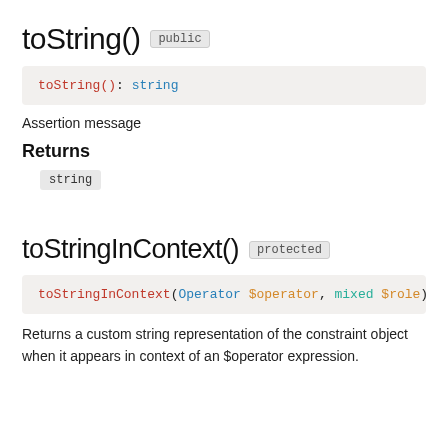toString()  public
toString(): string
Assertion message
Returns
string
toStringInContext()  protected
toStringInContext(Operator $operator, mixed $role):
Returns a custom string representation of the constraint object when it appears in context of an $operator expression.